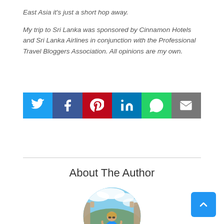East Asia it's just a short hop away.
My trip to Sri Lanka was sponsored by Cinnamon Hotels and Sri Lanka Airlines in conjunction with the Professional Travel Bloggers Association. All opinions are my own.
[Figure (infographic): Social share buttons: Twitter (blue), Facebook (dark blue), Pinterest (red), LinkedIn (teal), WhatsApp (green), Email (gray)]
About The Author
[Figure (photo): Circular author photo of a woman in a blue dress standing at a scenic overlook with stone arches and a panoramic view below a cloudy sky]